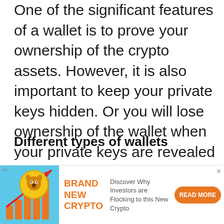One of the significant features of a wallet is to prove your ownership of the crypto assets. However, it is also important to keep your private keys hidden. Or you will lose ownership of the wallet when your private keys are revealed to the public.
Different types of wallets
[Figure (illustration): Advertisement banner with a cartoon dog coin with upward arrow chart, orange bar chart, teal background. Text: BRAND NEW CRYPTO. Discover Why Investors are Flocking to this New Crypto. READ MORE button in orange.]